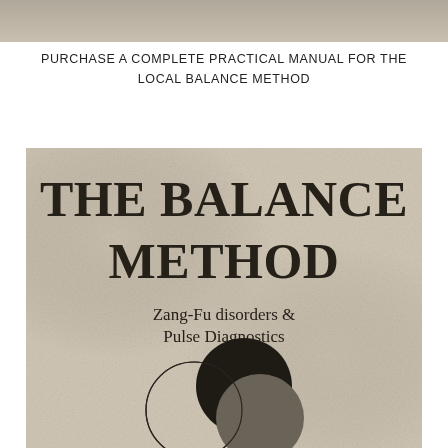[Figure (photo): Top portion of a book cover image, showing a grey/beige textured background strip at the top of the page.]
PURCHASE A COMPLETE PRACTICAL MANUAL FOR THE LOCAL BALANCE METHOD
[Figure (illustration): Book cover for 'The Balance Method: Zang-Fu disorders & Pulse Diagnostics'. Beige/linen textured background with large black bold title text, subtitle in serif font, and a circular Venn-diagram-like logo at the bottom featuring three overlapping circles — one outlined, one solid black, one dark grey.]